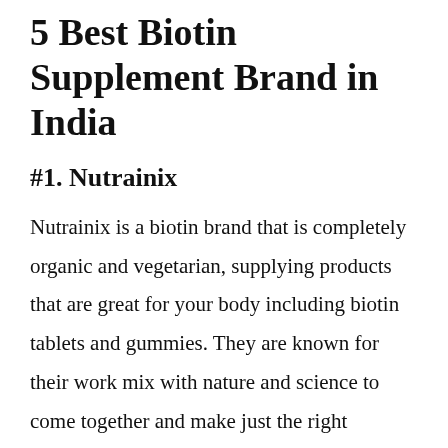5 Best Biotin Supplement Brand in India
#1. Nutrainix
Nutrainix is a biotin brand that is completely organic and vegetarian, supplying products that are great for your body including biotin tablets and gummies. They are known for their work mix with nature and science to come together and make just the right